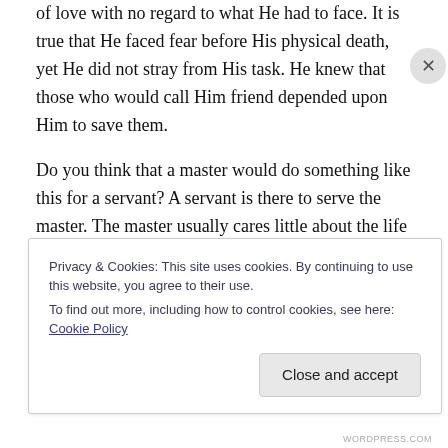of love with no regard to what He had to face. It is true that He faced fear before His physical death, yet He did not stray from His task. He knew that those who would call Him friend depended upon Him to save them.
Do you think that a master would do something like this for a servant? A servant is there to serve the master. The master usually cares little about the life of the servant. There is no love involved in this type of a relationship.
Do you see Jesus as a friend? Do you see others as
Privacy & Cookies: This site uses cookies. By continuing to use this website, you agree to their use.
To find out more, including how to control cookies, see here: Cookie Policy